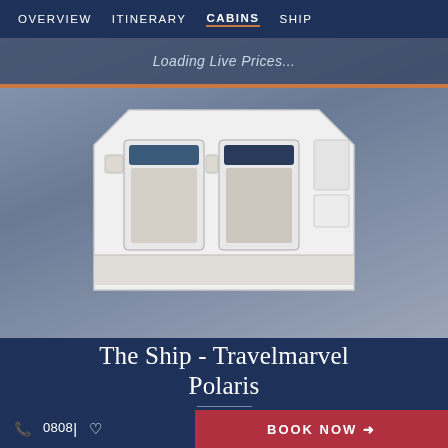OVERVIEW  ITINERARY  CABINS  SHIP
[Figure (screenshot): Loading Live Prices overlay with cabin floor plan image showing a 3D top-down view of a ship cabin with beds and furniture]
The Ship - Travelmarvel Polaris
08081  BOOK NOW →